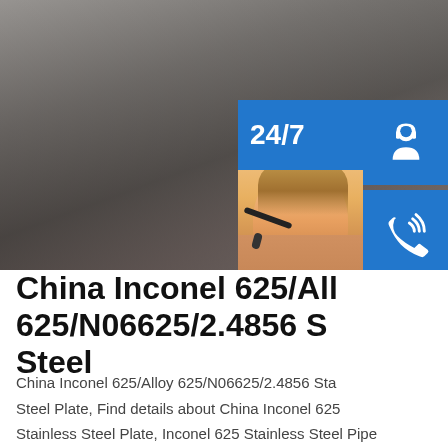[Figure (photo): Photo of metal steel plates/sheets stacked, showing dark metallic surface. Overlaid with customer service UI widgets including a 24/7 banner, headset icon, phone icon, Skype icon, a customer service representative photo, PROVIDE/Empowering Customers text box, online live button, and an up-arrow navigation button.]
China Inconel 625/Alloy 625/N06625/2.4856 Stainless Steel
China Inconel 625/Alloy 625/N06625/2.4856 Stainless Steel Plate, Find details about China Inconel 625 Stainless Steel Plate, Inconel 625 Stainless Steel Pipe from Inconel 625/Alloy 625/N06625/2.4856 Stainless Steel Plate - Shanghai Ruiboao Metal Group Co.,